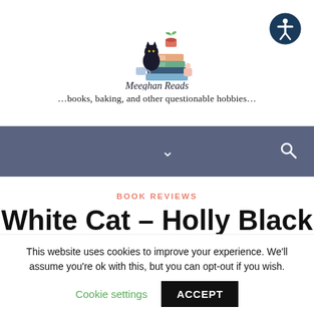[Figure (logo): Meeghan Reads logo with a black cat sitting on stacked colorful books with a plant on top, and the text 'Meeghan Reads' in handwritten style font below]
…books, baking, and other questionable hobbies…
[Figure (illustration): Blue circular accessibility icon button in top right corner showing a person figure]
[Figure (screenshot): Navigation bar with dark slate blue background, a downward chevron in the center and a search icon on the right]
BOOK REVIEWS
White Cat – Holly Black
This website uses cookies to improve your experience. We'll assume you're ok with this, but you can opt-out if you wish.
Cookie settings  ACCEPT